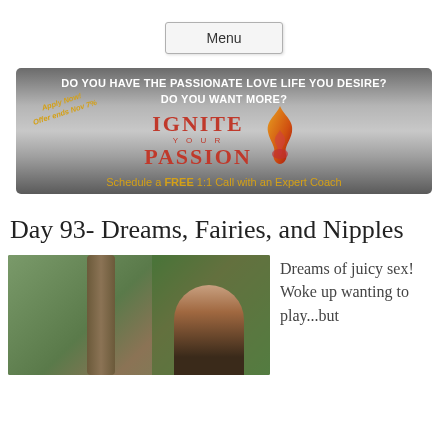Menu
[Figure (infographic): Dark metallic banner ad reading 'DO YOU HAVE THE PASSIONATE LOVE LIFE YOU DESIRE? DO YOU WANT MORE? IGNITE YOUR PASSION. Schedule a FREE 1:1 Call with an Expert Coach' with flame logo and 'Apply Now! Offer ends Nov 7%' text.]
Day 93- Dreams, Fairies, and Nipples
[Figure (photo): A dark-haired woman standing near a large tree trunk with green leafy plants/vines in the background against a wooden fence.]
Dreams of juicy sex! Woke up wanting to play...but